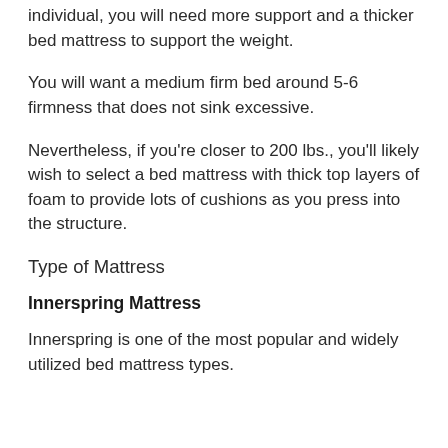individual, you will need more support and a thicker bed mattress to support the weight.
You will want a medium firm bed around 5-6 firmness that does not sink excessive.
Nevertheless, if you're closer to 200 lbs., you'll likely wish to select a bed mattress with thick top layers of foam to provide lots of cushions as you press into the structure.
Type of Mattress
Innerspring Mattress
Innerspring is one of the most popular and widely utilized bed mattress types.